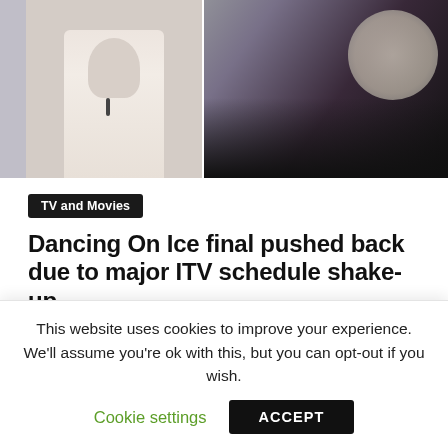[Figure (photo): Two photos side by side: left shows a man in a light pink shirt with a microphone clip, right shows a blonde woman in a dark sparkly outfit performing on ice]
TV and Movies
Dancing On Ice final pushed back due to major ITV schedule shake-up
03/08/2022
Dancing on Ice: Regan Gascoigne is reduced to tears We use your sign-up to provide content in ways you've consented to and to improve our
This website uses cookies to improve your experience. We'll assume you're ok with this, but you can opt-out if you wish.
Cookie settings
ACCEPT